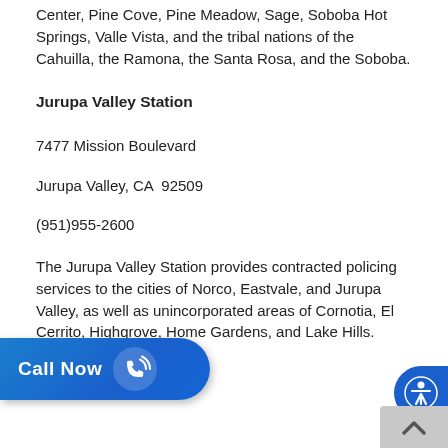Center, Pine Cove, Pine Meadow, Sage, Soboba Hot Springs, Valle Vista, and the tribal nations of the Cahuilla, the Ramona, the Santa Rosa, and the Soboba.
Jurupa Valley Station
7477 Mission Boulevard
Jurupa Valley, CA  92509
(951)955-2600
The Jurupa Valley Station provides contracted policing services to the cities of Norco, Eastvale, and Jurupa Valley, as well as unincorporated areas of Cornotia, El Cerrito, Highgrove, Home Gardens, and Lake Hills.
Lake Elsinore Station